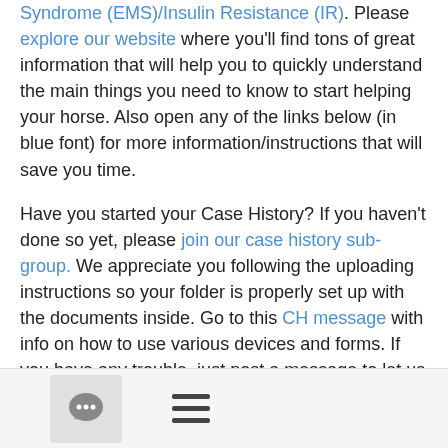Syndrome (EMS)/Insulin Resistance (IR). Please explore our website where you'll find tons of great information that will help you to quickly understand the main things you need to know to start helping your horse. Also open any of the links below (in blue font) for more information/instructions that will save you time.
Have you started your Case History? If you haven't done so yet, please join our case history sub-group. We appreciate you following the uploading instructions so your folder is properly set up with the documents inside. Go to this CH message with info on how to use various devices and forms. If you have any trouble, just post a message to let us know where you are stuck.
Orienting information, such as how the different ECIR sections relate to each other, message etiquette, what goes where and many how-to pages are in the Wiki. There is also an FAQs on our website that will help answer the most common and important questions new members have.
[Figure (other): Footer bar with a chat bubble icon in a grey rounded box and a hamburger menu icon (three horizontal lines)]